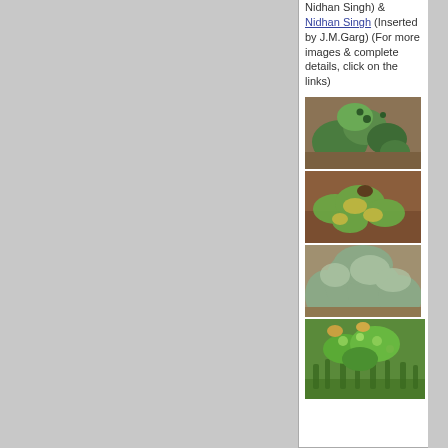Nidhan Singh) & Nidhan Singh (Inserted by J.M.Garg) (For more images & complete details, click on the links)
[Figure (photo): Close-up photo of a plant with green leaves and small round buds/fruits on reddish-brown soil background]
[Figure (photo): Close-up photo of a plant with small feathery green-yellow leaves on reddish-brown background]
[Figure (photo): Photo of a dense bushy plant with small grayish-green leaves]
[Figure (photo): Close-up macro photo of green plant with small buds or flowers on grass background]